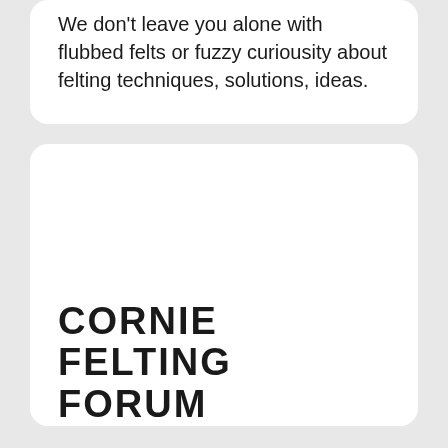We don't leave you alone with flubbed felts or fuzzy curiousity about felting techniques, solutions, ideas.
CORNIE FELTING FORUM